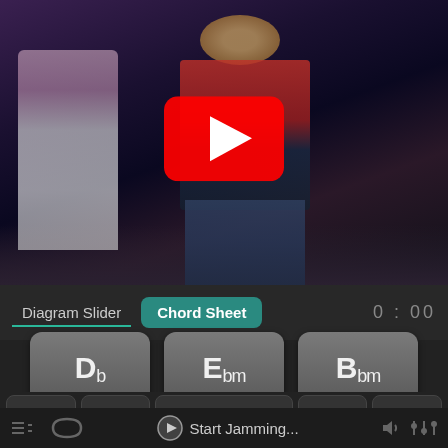[Figure (screenshot): YouTube video thumbnail showing a rock performer in a red shirt and jeans on stage, with another performer in white to the left, and a large YouTube play button overlay in the center]
Diagram Slider
Chord Sheet
0 : 00
Db
Ebm
Bbm
Start Jamming...